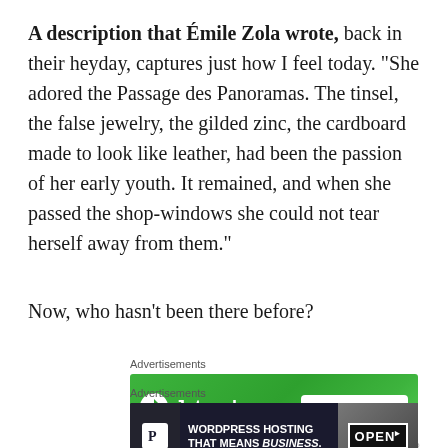A description that Émile Zola wrote, back in their heyday, captures just how I feel today. “She adored the Passage des Panoramas. The tinsel, the false jewelry, the gilded zinc, the cardboard made to look like leather, had been the passion of her early youth. It remained, and when she passed the shop-windows she could not tear herself away from them.”
Now, who hasn’t been there before?
Advertisements
[Figure (screenshot): Jetpack advertisement banner with green gradient background showing Jetpack logo and 'Secure Your Site' button]
Advertisements
[Figure (screenshot): WordPress Hosting advertisement banner with dark background showing WordPress P logo and 'WORDPRESS HOSTING THAT MEANS BUSINESS.' text with an OPEN sign image]